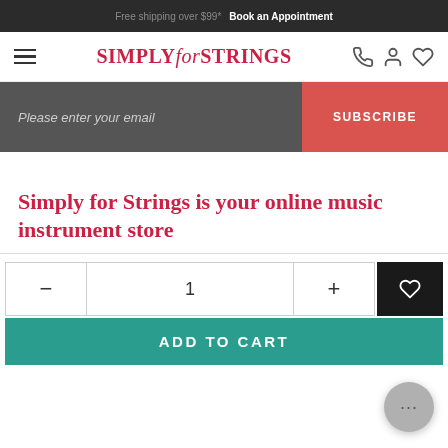Free shipping over $99* Book an Appointment
[Figure (logo): Simply for Strings logo with hamburger menu and icons for phone, account, wishlist]
Please enter your email  SUBSCRIBE
Simply for Strings is your online music instrument store
− 1 + ADD TO CART